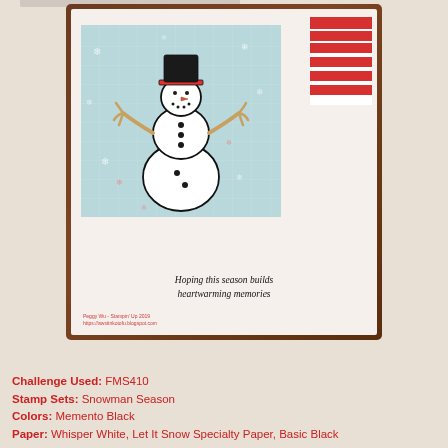[Figure (photo): A handmade Christmas card featuring a stamped snowman on a light blue snowflake background, with red and white striped paper accent, and the greeting 'Hoping this season builds heartwarming memories'. Card is displayed on a brown wooden surface. Watermark text: Peggy Wu - Stampin' Up 2019, https://awstinkotofu.blogspot.com]
Challenge Used: FMS410
Stamp Sets: Snowman Season
Colors: Memento Black
Paper: Whisper White, Let It Snow Specialty Paper, Basic Black